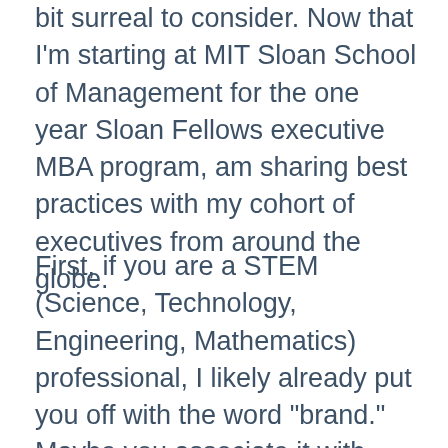bit surreal to consider. Now that I'm starting at MIT Sloan School of Management for the one year Sloan Fellows executive MBA program, am sharing best practices with my cohort of executives from around the globe.
First, if you are a STEM (Science, Technology, Engineering, Mathematics) professional, I likely already put you off with the word "brand." Maybe you associate it with calculated manipulation, by industry marketers with degrees in psychology, to sell.
To that I say: "Get over it." That is your bias and one that needs to be